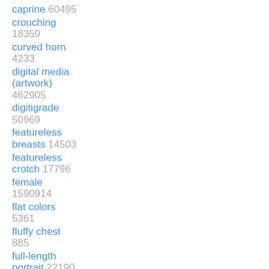caprine 60495
crouching 18359
curved horn 4233
digital media (artwork) 462905
digitigrade 50969
featureless breasts 14503
featureless crotch 17796
female 1590914
flat colors 5361
fluffy chest 885
full-length portrait 22190
fur 891977
goat 34574
grey arms 198
grey body 75092
grey breasts 104